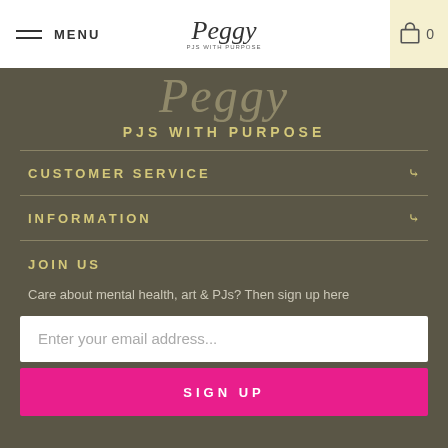MENU | Peggy PJs with Purpose | 0
[Figure (logo): Peggy script logo with 'PJS WITH PURPOSE' tagline in olive/dark background]
PJS WITH PURPOSE
CUSTOMER SERVICE
INFORMATION
JOIN US
Care about mental health, art & PJs? Then sign up here
Enter your email address...
SIGN UP